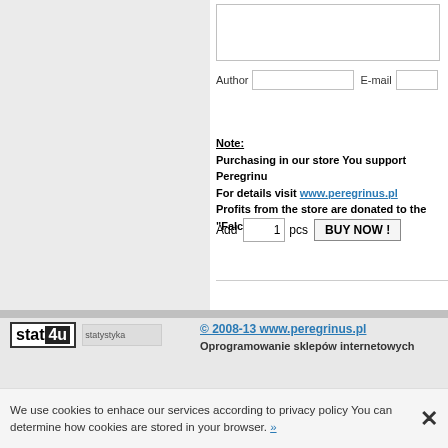[Figure (screenshot): Web store form with text area, Author and E-mail input fields]
Note:
Purchasing in our store You support Peregrinus
For details visit www.peregrinus.pl
Profits from the store are donated to the "Falc
Add 1 pcs  BUY NOW !
© 2008-13 www.peregrinus.pl
Oprogramowanie sklepów internetowych
We use cookies to enhace our services according to privacy policy You can determine how cookies are stored in your browser. »